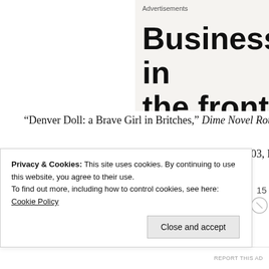[Figure (other): Advertisement banner showing large bold text 'Business in the front' on a light beige/gray background]
“Denver Doll: a Brave Girl in Britches,” Dime Novel Round-Up
“Passing Girl Sports,” Dime Novel Round-Up, No. 703, Feb. 200
Random Editorial:
Privacy & Cookies: This site uses cookies. By continuing to use this website, you agree to their use.
To find out more, including how to control cookies, see here: Cookie Policy
Close and accept